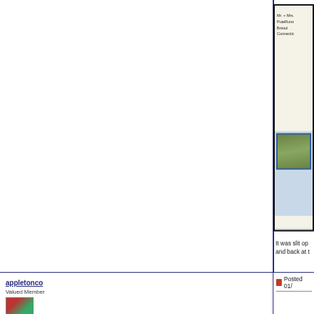[Figure (photo): Partial scan of a forum page showing a cropped image of a vintage envelope addressed to Mr. & Mrs. PuieRurst, Bristol, Connecticut, with a blue-bordered postage stamp below it.]
It was slit op and back at t
appletonco
Valued Member
Posted 01/